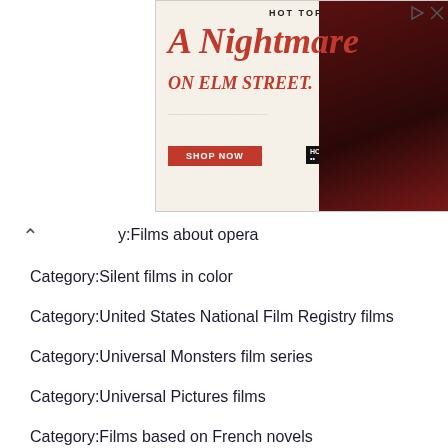[Figure (photo): Advertisement for Hot Topic featuring 'A Nightmare on Elm Street' merchandise with two people in dark clothing against a red curtain background. Includes a 'Shop Now' button.]
y:Films about opera
Category:Silent films in color
Category:United States National Film Registry films
Category:Universal Monsters film series
Category:Universal Pictures films
Category:Films based on French novels